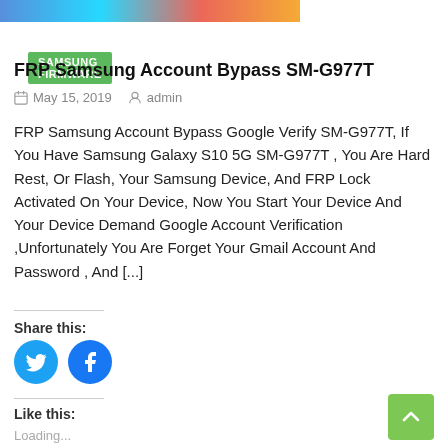[Figure (photo): Colorful banner image strip at the top of the page]
SAMSUNG FIRMWARE
FRP Samsung Account Bypass SM-G977T
May 15, 2019   admin
FRP Samsung Account Bypass Google Verify SM-G977T, If You Have Samsung Galaxy S10 5G SM-G977T , You Are Hard Rest, Or Flash, Your Samsung Device, And FRP Lock Activated On Your Device, Now You Start Your Device And Your Device Demand Google Account Verification ,Unfortunately You Are Forget Your Gmail Account And Password , And [...]
Share this:
[Figure (illustration): Twitter and Facebook share icon circles]
Like this:
Loading...